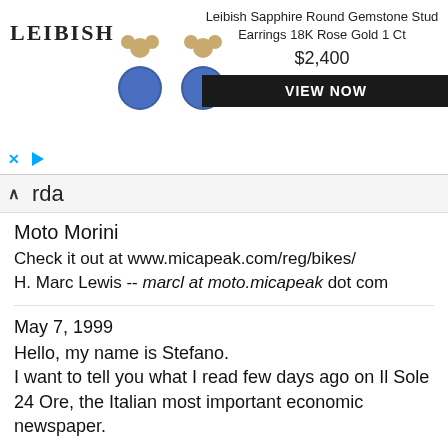[Figure (screenshot): Leibish advertisement banner showing sapphire earrings, product name 'Leibish Sapphire Round Gemstone Stud Earrings 18K Rose Gold 1 Ct', price $2,400, and a VIEW NOW button. LEIBISH logo on left with earring images.]
rda
Moto Morini
Check it out at www.micapeak.com/reg/bikes/
H. Marc Lewis -- marcl at moto.micapeak dot com
May 7, 1999
Hello, my name is Stefano.
I want to tell you what I read few days ago on Il Sole 24 Ore, the Italian most important economic newspaper.
Ducati sold the mark Moto Morini to Morini